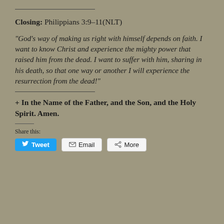Closing: Philippians 3:9–11(NLT)
“God’s way of making us right with himself depends on faith. I want to know Christ and experience the mighty power that raised him from the dead. I want to suffer with him, sharing in his death, so that one way or another I will experience the resurrection from the dead!”
+ In the Name of the Father, and the Son, and the Holy Spirit. Amen.
Share this: